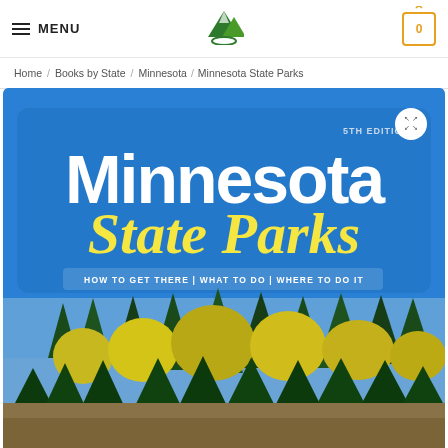MENU | [logo] | [cart: 0]
Home / Books by State / Minnesota / Minnesota State Parks
[Figure (photo): Book cover for 'Minnesota State Parks' 5th edition. Blue background with white bold text 'Minnesota' and yellow italic script text 'State Parks'. Subtitle reads 'HOW TO GET THERE | WHAT TO DO | WHERE TO DO IT'. Bottom half shows photograph of dense conifer and deciduous forest with fall foliage under blue sky.]